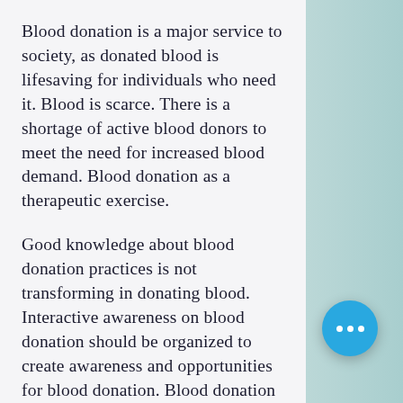Blood donation is a major service to society, as donated blood is lifesaving for individuals who need it. Blood is scarce. There is a shortage of active blood donors to meet the need for increased blood demand. Blood donation as a therapeutic exercise.
Good knowledge about blood donation practices is not transforming in donating blood. Interactive awareness on blood donation should be organized to create awareness and opportunities for blood donation. Blood donation could be therefore recommended that voluntary blood donations as